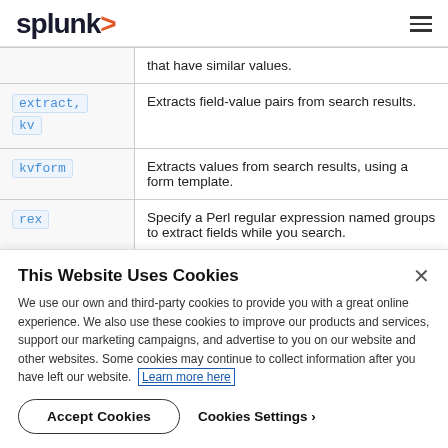splunk>
| Command | Description |
| --- | --- |
|  | that have similar values. |
| extract, kv | Extracts field-value pairs from search results. |
| kvform | Extracts values from search results, using a form template. |
| rex | Specify a Perl regular expression named groups to extract fields while you search. |
This Website Uses Cookies
We use our own and third-party cookies to provide you with a great online experience. We also use these cookies to improve our products and services, support our marketing campaigns, and advertise to you on our website and other websites. Some cookies may continue to collect information after you have left our website. Learn more here
Accept Cookies   Cookies Settings ›